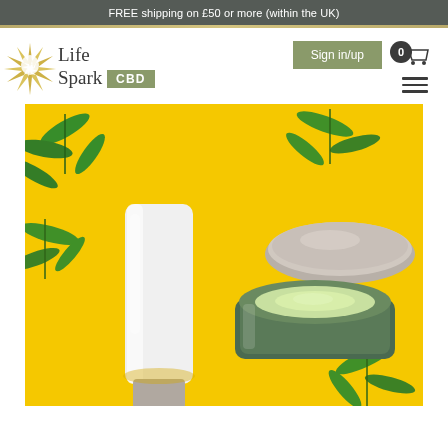FREE shipping on £50 or more (within the UK)
[Figure (logo): Life Spark CBD logo with starburst icon and green CBD badge]
[Figure (photo): Hero product photo showing a white squeeze tube and open glass jar of green cream on a yellow background with cannabis leaves]